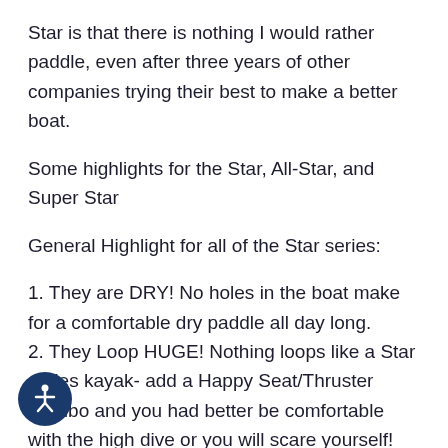Star is that there is nothing I would rather paddle, even after three years of other companies trying their best to make a better boat.
Some highlights for the Star, All-Star, and Super Star
General Highlight for all of the Star series:
1. They are DRY! No holes in the boat make for a comfortable dry paddle all day long.
2. They Loop HUGE! Nothing loops like a Star series kayak- add a Happy Seat/Thruster Combo and you had better be comfortable with the high dive or you will scare yourself!
3. STIFF: With the new Boat Armor